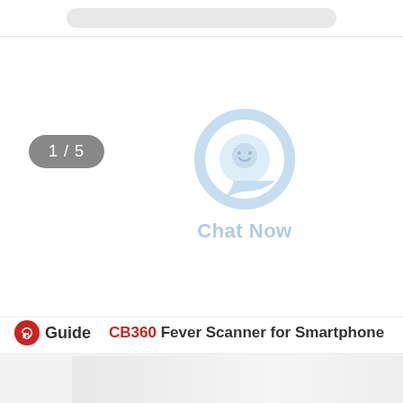[Figure (screenshot): Top navigation bar with gray pill-shaped element]
[Figure (other): Badge showing 1 / 5 in gray rounded rectangle]
[Figure (other): Chat Now widget with light blue circular chat icon and 'Chat Now' label]
[Figure (logo): Guide brand logo (red circular G icon) with text 'Guide']
CB360 Fever Scanner for Smartphone
[Figure (photo): Product image strip at bottom showing CB360 device]